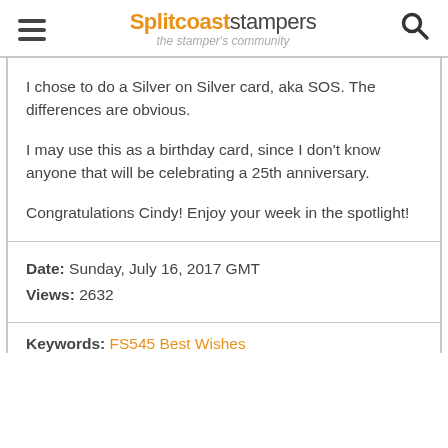Splitcoaststampers — the stamper's community
I chose to do a Silver on Silver card, aka SOS. The differences are obvious.

I may use this as a birthday card, since I don't know anyone that will be celebrating a 25th anniversary.

Congratulations Cindy! Enjoy your week in the spotlight!
Date: Sunday, July 16, 2017 GMT
Views: 2632
Keywords: FS545 Best Wishes